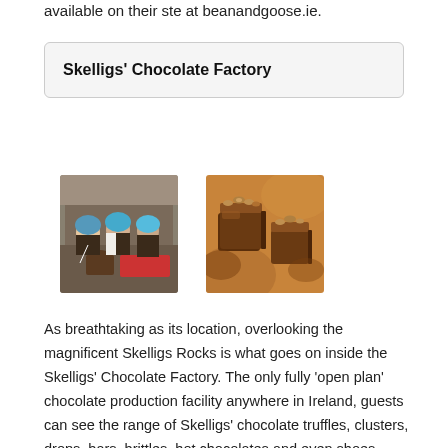available on their ste at beanandgoose.ie.
Skelligs' Chocolate Factory
[Figure (photo): Workers in aprons and hairnets making chocolates in a factory kitchen]
[Figure (photo): Close-up of chocolate truffles with nuts on top]
As breathtaking as its location, overlooking the magnificent Skelligs Rocks is what goes on inside the Skelligs' Chocolate Factory. The only fully 'open plan' chocolate production facility anywhere in Ireland, guests can see the range of Skelligs' chocolate truffles, clusters, drops, bars, brittles, hot chocolates and even shoes chocolates being made, ask questions and, of